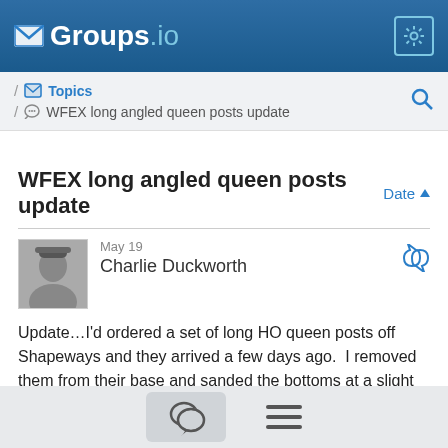Groups.io
Topics / WFEX long angled queen posts update
WFEX long angled queen posts update
Charlie Duckworth  May 19
Update…I'd ordered a set of long HO queen posts off Shapeways and they arrived a few days ago.  I removed them from their base and sanded the bottoms at a slight angle for gluing on the channels.  The tops where the truss rods were to sit weren't open as with Tichy's or Grandt Line's so I took a micro-saw and cut in a small groove.  Then took a slightly wider saw and opened up the groove a little more - only snapped one post and luckily found the